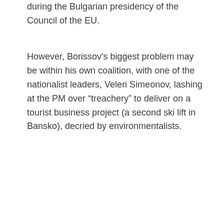during the Bulgarian presidency of the Council of the EU.
However, Borissov's biggest problem may be within his own coalition, with one of the nationalist leaders, Veleri Simeonov, lashing at the PM over “treachery” to deliver on a tourist business project (a second ski lift in Bansko), decried by environmentalists.